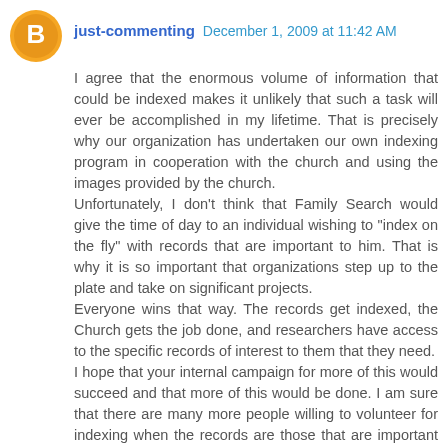just-commenting  December 1, 2009 at 11:42 AM
I agree that the enormous volume of information that could be indexed makes it unlikely that such a task will ever be accomplished in my lifetime. That is precisely why our organization has undertaken our own indexing program in cooperation with the church and using the images provided by the church.
Unfortunately, I don't think that Family Search would give the time of day to an individual wishing to "index on the fly" with records that are important to him. That is why it is so important that organizations step up to the plate and take on significant projects.
Everyone wins that way. The records get indexed, the Church gets the job done, and researchers have access to the specific records of interest to them that they need.
I hope that your internal campaign for more of this would succeed and that more of this would be done. I am sure that there are many more people willing to volunteer for indexing when the records are those that are important to